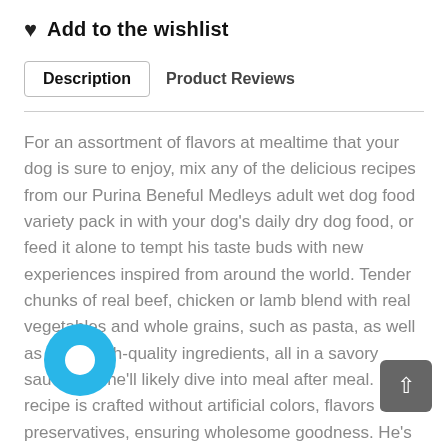♥  Add to the wishlist
Description    Product Reviews
For an assortment of flavors at mealtime that your dog is sure to enjoy, mix any of the delicious recipes from our Purina Beneful Medleys adult wet dog food variety pack in with your dog's daily dry dog food, or feed it alone to tempt his taste buds with new experiences inspired from around the world. Tender chunks of real beef, chicken or lamb blend with real vegetables and whole grains, such as pasta, as well as other high-quality ingredients, all in a savory sauce that he'll likely dive into meal after meal. Each recipe is crafted without artificial colors, flavors or preservatives, ensuring wholesome goodness. He's getting good, healthy